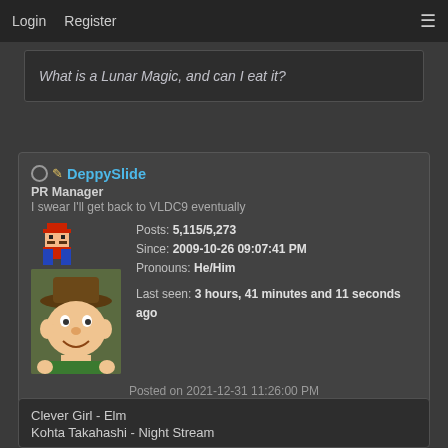Login  Register
What is a Lunar Magic, and can I eat it?
DeppySlide
PR Manager
I swear I'll get back to VLDC9 eventually
Posts: 5,115/5,273
Since: 2009-10-26 09:07:41 PM
Pronouns: He/Him
Last seen: 3 hours, 41 minutes and 11 seconds ago
Posted on 2021-12-31 11:26:00 PM
Link
Clever Girl - Elm
Kohta Takahashi - Night Stream